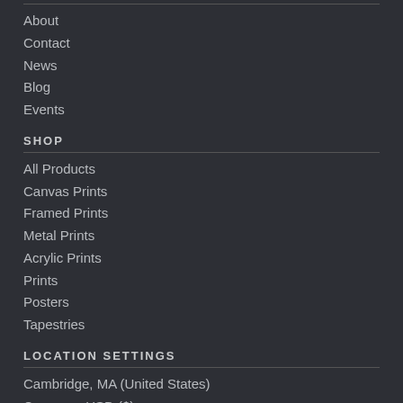About
Contact
News
Blog
Events
SHOP
All Products
Canvas Prints
Framed Prints
Metal Prints
Acrylic Prints
Prints
Posters
Tapestries
LOCATION SETTINGS
Cambridge, MA (United States)
Currency: USD ($)
Units: Inches